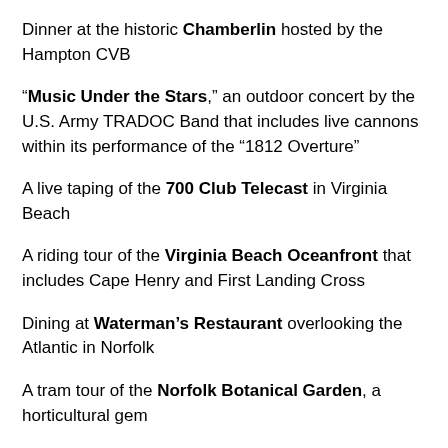Dinner at the historic Chamberlin hosted by the Hampton CVB
“Music Under the Stars,” an outdoor concert by the U.S. Army TRADOC Band that includes live cannons within its performance of the “1812 Overture”
A live taping of the 700 Club Telecast in Virginia Beach
A riding tour of the Virginia Beach Oceanfront that includes Cape Henry and First Landing Cross
Dining at Waterman’s Restaurant overlooking the Atlantic in Norfolk
A tram tour of the Norfolk Botanical Garden, a horticultural gem
Chrysler Museum of Art, with exhibits of renowned